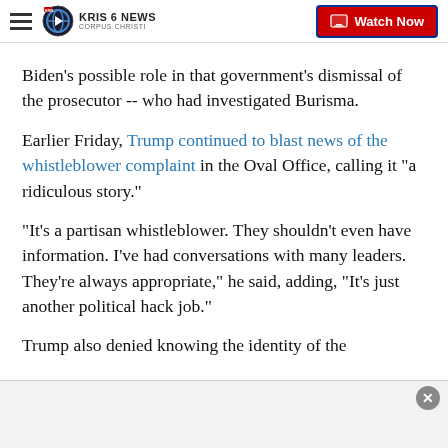KRIS 6 NEWS CORPUS CHRISTI | Watch Now
Biden's possible role in that government's dismissal of the prosecutor -- who had investigated Burisma.
Earlier Friday, Trump continued to blast news of the whistleblower complaint in the Oval Office, calling it "a ridiculous story."
"It's a partisan whistleblower. They shouldn't even have information. I've had conversations with many leaders. They're always appropriate," he said, adding, "It's just another political hack job."
Trump also denied knowing the identity of the